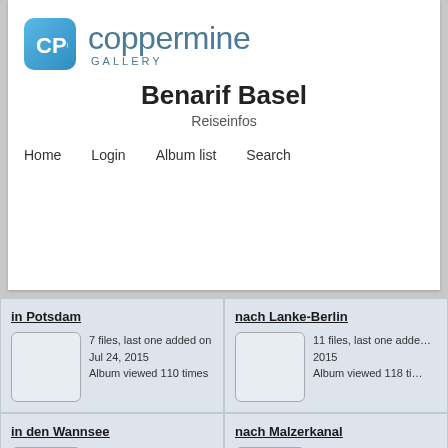[Figure (logo): Coppermine Gallery logo with CPG icon and text]
Benarif Basel
Reiseinfos
Home   Login   Album list   Search
in Potsdam
7 files, last one added on Jul 24, 2015
Album viewed 110 times
nach Lanke-Berlin
11 files, last one added on … 2015
Album viewed 118 times
in den Wannsee
14 files, last one added on Jul 29, 2015
Album viewed 158 times
nach Malzerkanal
7 files, last one added on … 09, 2015
Album viewed 113 times